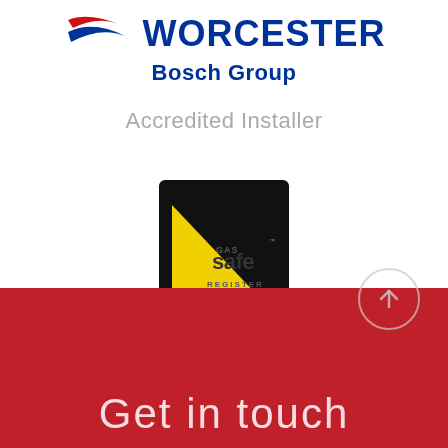[Figure (logo): Worcester Bosch Group Accredited Installer logo with red and blue swoosh design]
Accredited Installer
[Figure (logo): Gas Safe Register logo — black square with yellow triangle and 'gas safe REGISTER' text]
Get in touch